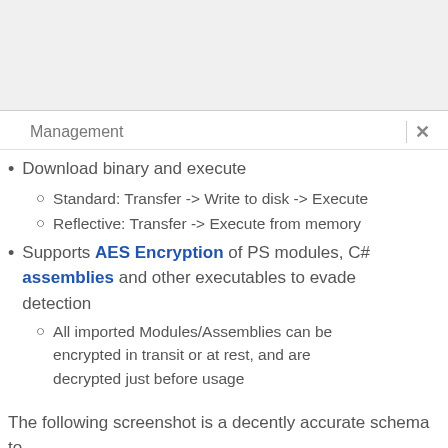Management
Download binary and execute
Standard: Transfer -> Write to disk -> Execute
Reflective: Transfer -> Execute from memory
Supports AES Encryption of PS modules, C# assemblies and other executables to evade detection
All imported Modules/Assemblies can be encrypted in transit or at rest, and are decrypted just before usage
The following screenshot is a decently accurate schema to describe the tool's workflow: